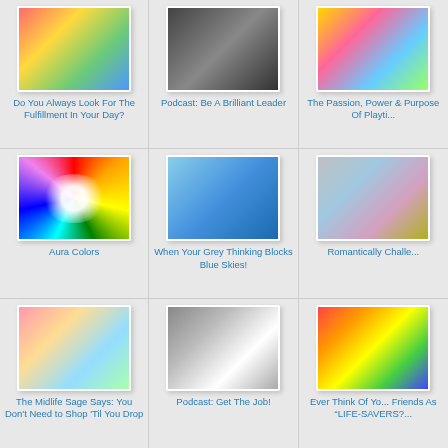[Figure (photo): Person with colorful outfit or bag]
Do You Always Look For The Fulfillment In Your Day?
[Figure (photo): Dark silhouette figure, podcast image]
Podcast: Be A Brilliant Leader
[Figure (photo): Children playing, colorful illustration]
The Passion, Power & Purpose Of Playti...
[Figure (photo): Rainbow starburst colorful image]
Aura Colors
[Figure (photo): Dancer with white fabric against blue sky]
When Your Grey Thinking Blocks Blue Skies!
[Figure (photo): Shiny CDs or discs with rainbow reflection]
Romantically Challe...
[Figure (photo): Colorful cupcakes close-up]
The Midlife Sage Says: You Don't Need to Shop 'Til You Drop
[Figure (photo): Wedding couple, man in suit]
Podcast: Get The Job!
[Figure (photo): Colorful round candy / gummy sweets]
Ever Think Of Yo... Friends As "LIFE-SAVERS?...